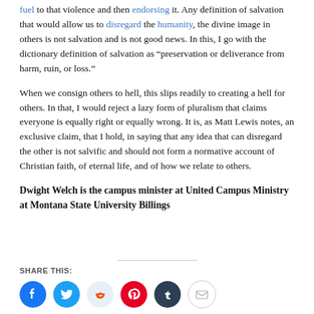fuel to that violence and then endorsing it. Any definition of salvation that would allow us to disregard the humanity, the divine image in others is not salvation and is not good news. In this, I go with the dictionary definition of salvation as "preservation or deliverance from harm, ruin, or loss."
When we consign others to hell, this slips readily to creating a hell for others. In that, I would reject a lazy form of pluralism that claims everyone is equally right or equally wrong. It is, as Matt Lewis notes, an exclusive claim, that I hold, in saying that any idea that can disregard the other is not salvific and should not form a normative account of Christian faith, of eternal life, and of how we relate to others.
Dwight Welch is the campus minister at United Campus Ministry at Montana State University Billings
SHARE THIS:
[Figure (infographic): Social share buttons: Facebook (blue), Twitter (light blue), Reddit (light grey), Pinterest (red), Tumblr (dark navy), Email (white/grey border)]